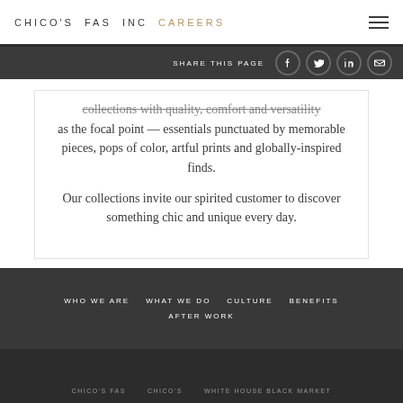CHICO'S FAS INC CAREERS
SHARE THIS PAGE
collections with quality, comfort and versatility as the focal point — essentials punctuated by memorable pieces, pops of color, artful prints and globally-inspired finds.
Our collections invite our spirited customer to discover something chic and unique every day.
WHO WE ARE  WHAT WE DO  CULTURE  BENEFITS  AFTER WORK
CHICO'S FAS  CHICO'S  WHITE HOUSE BLACK MARKET